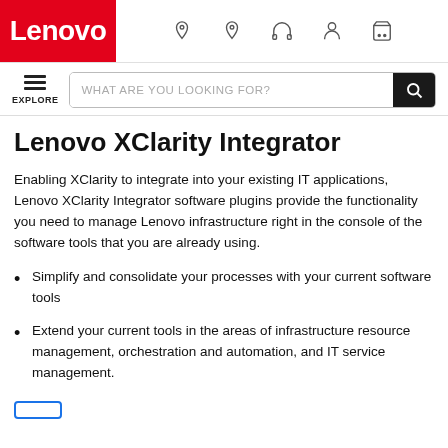Lenovo — navigation bar with logo and icons
EXPLORE | WHAT ARE YOU LOOKING FOR? [search bar]
Lenovo XClarity Integrator
Enabling XClarity to integrate into your existing IT applications, Lenovo XClarity Integrator software plugins provide the functionality you need to manage Lenovo infrastructure right in the console of the software tools that you are already using.
Simplify and consolidate your processes with your current software tools
Extend your current tools in the areas of infrastructure resource management, orchestration and automation, and IT service management.